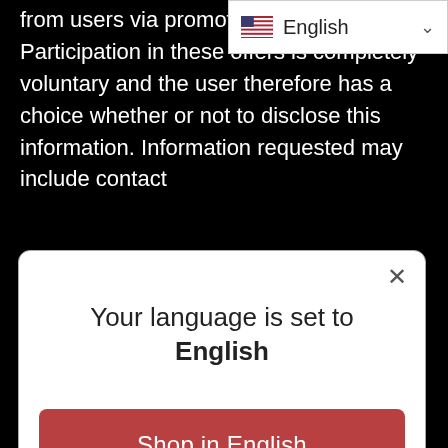from users via promotional prog... Participation in these offers is completely voluntary and the user therefore has a choice whether or not to disclose this information. Information requested may include contact
[Figure (screenshot): Language selector dropdown showing English with flag icon and chevron]
[Figure (screenshot): Modal dialog with message 'Your language is set to English', a red 'Shop in English' button, and a 'Change language' link with a close X button]
identify individual users. Cookies are used to track your IP address only for the purposes of tracking unique user sessions, to help diagnose problems with our server, and to administer our Web site. We use aggregate information